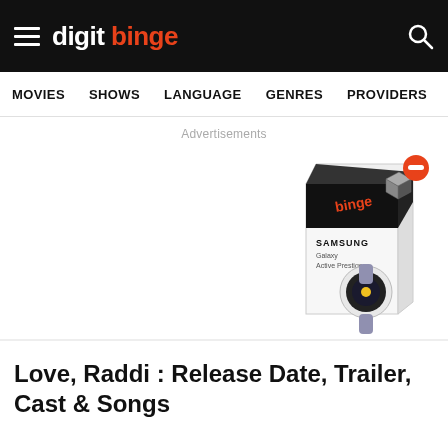digit binge — MOVIES  SHOWS  LANGUAGE  GENRES  PROVIDERS  LATE
Advertisements
[Figure (photo): Samsung smartwatch product box with a smartwatch beside it, with a red minus button in the top right corner of the ad]
Love, Raddi : Release Date, Trailer, Cast & Songs